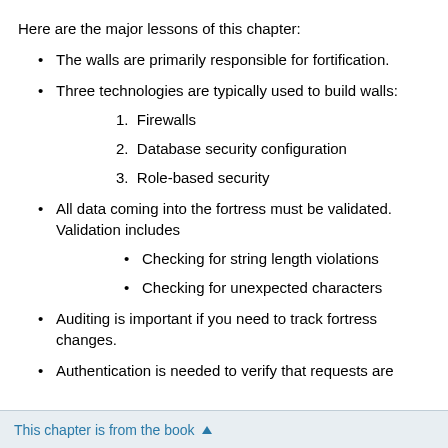Here are the major lessons of this chapter:
The walls are primarily responsible for fortification.
Three technologies are typically used to build walls:
1. Firewalls
2. Database security configuration
3. Role-based security
All data coming into the fortress must be validated. Validation includes
Checking for string length violations
Checking for unexpected characters
Auditing is important if you need to track fortress changes.
Authentication is needed to verify that requests are
This chapter is from the book ▲